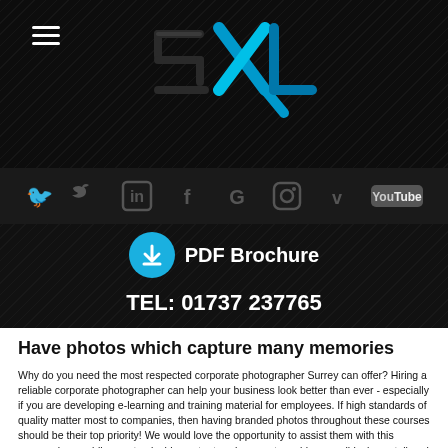[Figure (logo): 2XL company logo in blue and cyan colors]
[Figure (infographic): Social media icons bar: Twitter, LinkedIn, Facebook, Google, Instagram, Vimeo, YouTube]
PDF Brochure
TEL: 01737 237765
Have photos which capture many memories
Why do you need the most respected corporate photographer Surrey can offer? Hiring a reliable corporate photographer can help your business look better than ever - especially if you are developing e-learning and training material for employees. If high standards of quality matter most to companies, then having branded photos throughout these courses should be their top priority! We would love the opportunity to assist them with this process by providing customizable content such as custom videos or slideshows tailored specifically towards what they need. Never miss a moment with help from the premier corporate photographer Surrey has to offer.
If you need any more advice or guidance on what corporate photography is, or how it can help your business, you will find more on the links below: